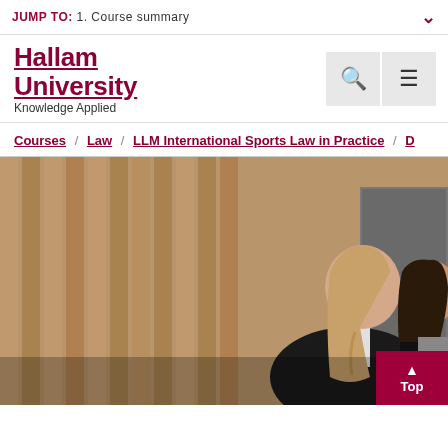JUMP TO: 1. Course summary
[Figure (logo): Sheffield Hallam University logo with text 'Hallam University Knowledge Applied' in dark red/maroon with underline]
Courses / Law / LLM International Sports Law in Practice /
[Figure (photo): Two women in academic graduation gowns talking in front of a wooden slat wall interior. One has long blonde hair, the other has dark hair. A door is visible in the background.]